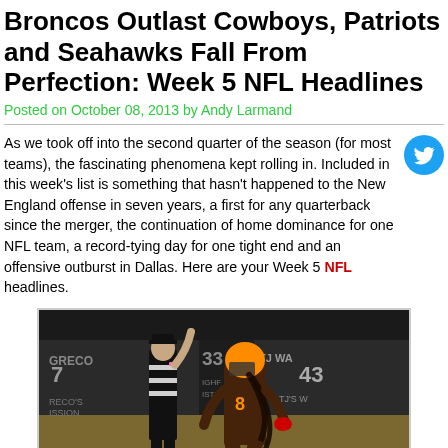Broncos Outlast Cowboys, Patriots and Seahawks Fall From Perfection: Week 5 NFL Headlines
Posted on October 08, 2013 by Andy Larmand
As we took off into the second quarter of the season (for most teams), the fascinating phenomena kept rolling in. Included in this week’s list is something that hasn’t happened to the New England offense in seven years, a first for any quarterback since the merger, the continuation of home dominance for one NFL team, a record-tying day for one tight end and an offensive outburst in Dallas. Here are your Week 5 NFL headlines.
[Figure (photo): NFL football game photo showing a referee with arm raised and a Cleveland Browns player wearing number 8 running on the field at night, with advertising boards visible in the background.]